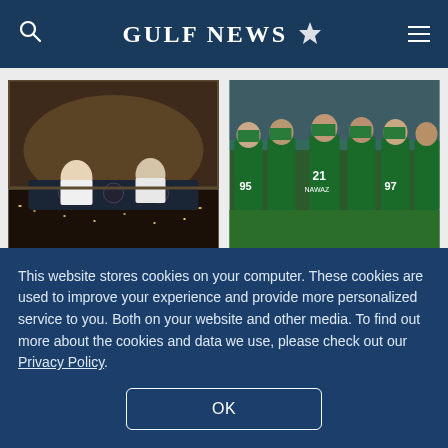GULF NEWS
[Figure (photo): Cockpit view of airline pilots flying a plane over a city at night]
Pilots are best placed as Gulf airlines ramp up hiring
[Figure (photo): Pakistan cricket team players in green jerseys huddled together on cricket field, jersey numbers 95, 21, 97 visible]
Ticket prices for Pak vs Eng T20I series announced
This website stores cookies on your computer. These cookies are used to improve your experience and provide more personalized service to you. Both on your website and other media. To find out more about the cookies and data we use, please check out our Privacy Policy.